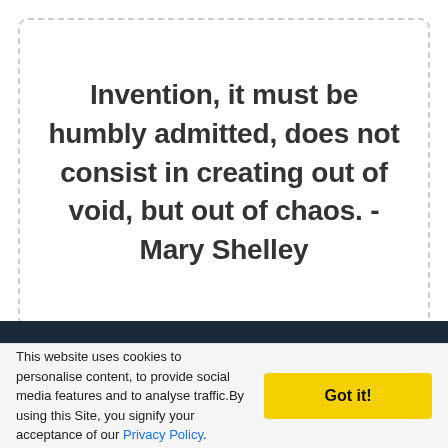Invention, it must be humbly admitted, does not consist in creating out of void, but out of chaos. - Mary Shelley
[Figure (photo): Dark blue/navy background image partially visible at bottom of page]
This website uses cookies to personalise content, to provide social media features and to analyse traffic.By using this Site, you signify your acceptance of our Privacy Policy.